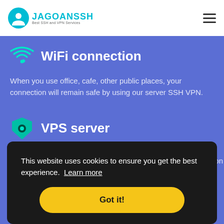[Figure (logo): JagoanSSH logo with cyan circle icon showing a person figure, teal/cyan brand name text 'JAGOANSSSH' and tagline 'Best SSH and VPN Services']
WiFi connection
When you use office, cafe, other public places, your connection will remain safe by using our server SSH VPN.
VPS server
This website uses cookies to ensure you get the best experience. Learn more
Got it!